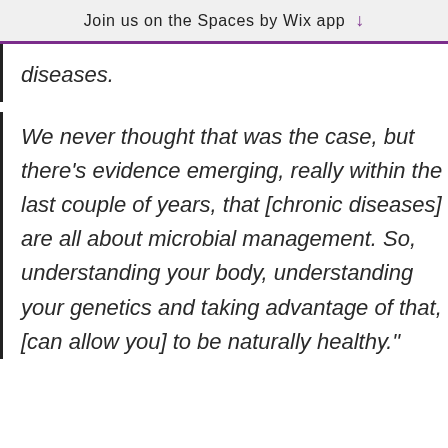Join us on the Spaces by Wix app
diseases.
We never thought that was the case, but there's evidence emerging, really within the last couple of years, that [chronic diseases] are all about microbial management. So, understanding your body, understanding your genetics and taking advantage of that, [can allow you] to be naturally healthy."